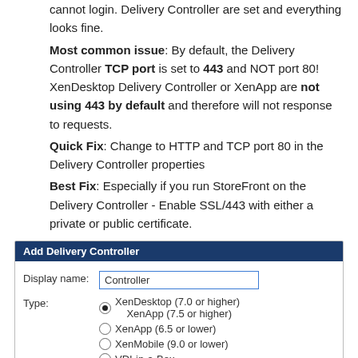After the setup of StoreFront you or anyone else cannot login. Delivery Controller are set and everything looks fine. Most common issue: By default, the Delivery Controller TCP port is set to 443 and NOT port 80! XenDesktop Delivery Controller or XenApp are not using 443 by default and therefore will not response to requests. Quick Fix: Change to HTTP and TCP port 80 in the Delivery Controller properties. Best Fix: Especially if you run StoreFront on the Delivery Controller - Enable SSL/443 with either a private or public certificate.
[Figure (screenshot): Add Delivery Controller dialog box showing fields: Display name (text input with 'Controller'), Type (radio buttons: XenDesktop 7.0 or higher / XenApp 7.5 or higher selected, XenApp 6.5 or lower, XenMobile 9.0 or lower, VDI-in-a-Box)]